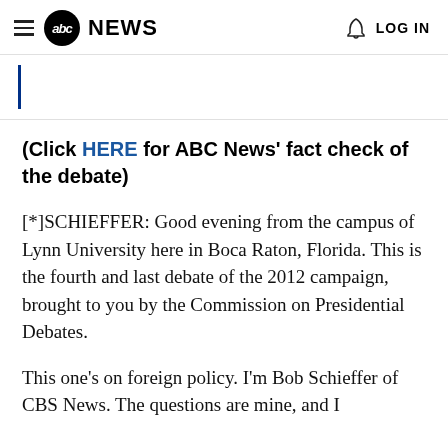abc NEWS   LOG IN
(Click HERE for ABC News' fact check of the debate)
[*]SCHIEFFER: Good evening from the campus of Lynn University here in Boca Raton, Florida. This is the fourth and last debate of the 2012 campaign, brought to you by the Commission on Presidential Debates.
This one's on foreign policy. I'm Bob Schieffer of CBS News. The questions are mine, and I